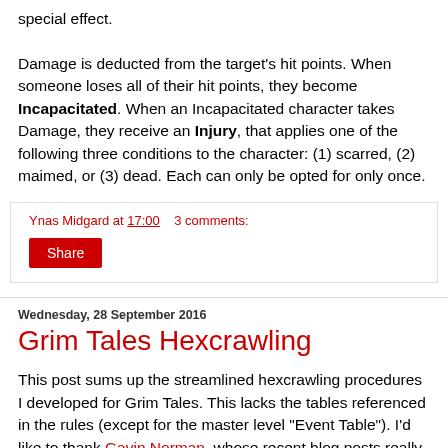special effect.

Damage is deducted from the target's hit points. When someone loses all of their hit points, they become Incapacitated. When an Incapacitated character takes Damage, they receive an Injury, that applies one of the following three conditions to the character: (1) scarred, (2) maimed, or (3) dead. Each can only be opted for only once.
Ynas Midgard at 17:00   3 comments:
Share
Wednesday, 28 September 2016
Grim Tales Hexcrawling
This post sums up the streamlined hexcrawling procedures I developed for Grim Tales. This lacks the tables referenced in the rules (except for the master level "Event Table"). I'd like to thank Gavin Norman, whose recent blog posts really inspired me.